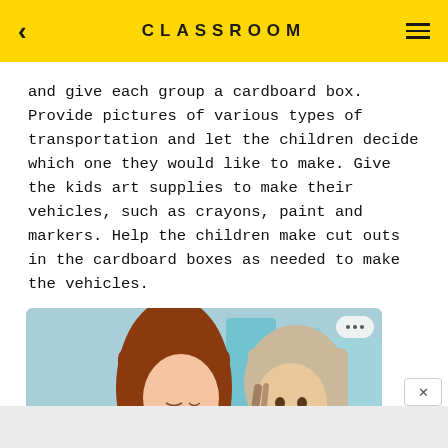CLASSROOM
and give each group a cardboard box. Provide pictures of various types of transportation and let the children decide which one they would like to make. Give the kids art supplies to make their vehicles, such as crayons, paint and markers. Help the children make cut outs in the cardboard boxes as needed to make the vehicles.
[Figure (photo): A woman with long brown hair leaning toward a young girl with braids, both appearing to smile at each other in a classroom-like setting with a teal background]